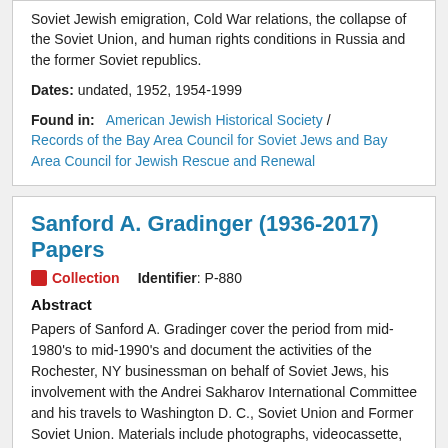Soviet Jewish emigration, Cold War relations, the collapse of the Soviet Union, and human rights conditions in Russia and the former Soviet republics.
Dates: undated, 1952, 1954-1999
Found in: American Jewish Historical Society / Records of the Bay Area Council for Soviet Jews and Bay Area Council for Jewish Rescue and Renewal
Sanford A. Gradinger (1936-2017) Papers
Collection  Identifier: P-880
Abstract
Papers of Sanford A. Gradinger cover the period from mid-1980's to mid-1990's and document the activities of the Rochester, NY businessman on behalf of Soviet Jews, his involvement with the Andrei Sakharov International Committee and his travels to Washington D. C., Soviet Union and Former Soviet Union. Materials include photographs, videocassette, CDrs, correspondence, clippings, ephemera and travel memorabilia.